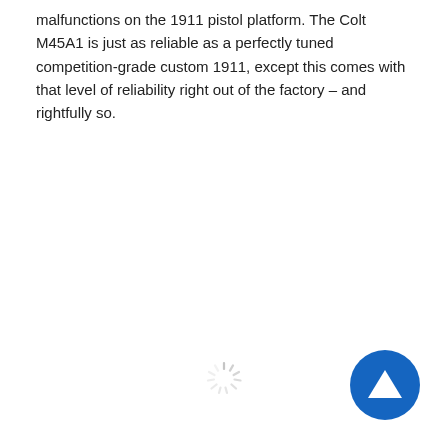malfunctions on the 1911 pistol platform. The Colt M45A1 is just as reliable as a perfectly tuned competition-grade custom 1911, except this comes with that level of reliability right out of the factory – and rightfully so.
[Figure (other): Loading spinner icon in light gray]
[Figure (other): Blue circular button with white upward-pointing triangle/arrow]